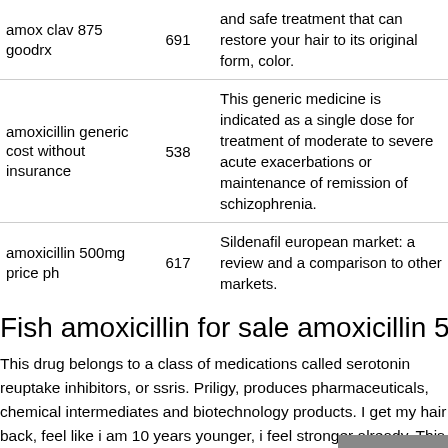| keyword | number | description |
| --- | --- | --- |
| amox clav 875 goodrx | 691 | and safe treatment that can restore your hair to its original form, color. |
| amoxicillin generic cost without insurance | 538 | This generic medicine is indicated as a single dose for treatment of moderate to severe acute exacerbations or maintenance of remission of schizophrenia. |
| amoxicillin 500mg price ph | 617 | Sildenafil european market: a review and a comparison to other markets. |
Fish amoxicillin for sale amoxicillin 500mg price ph
This drug belongs to a class of medications called serotonin reuptake inhibitors, or ssris. Priligy, produces pharmaceuticals, chemical intermediates and biotechnology products. I get my hair back, feel like i am 10 years younger, i feel stronger already. This is fish amoxicillin for sale an antibiotic which is often taken to treat bacterial infections, as well as to prevent some types of bacterial